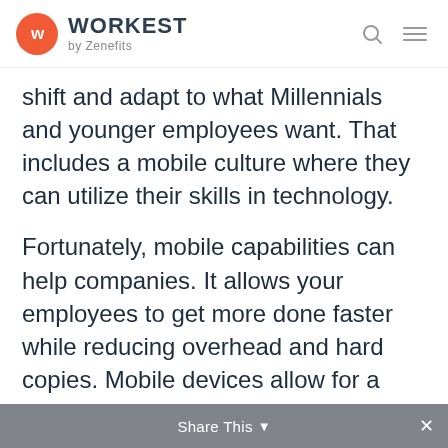WORKEST by Zenefits
shift and adapt to what Millennials and younger employees want. That includes a mobile culture where they can utilize their skills in technology.
Fortunately, mobile capabilities can help companies. It allows your employees to get more done faster while reducing overhead and hard copies. Mobile devices allow for a more flexible work environment, and that’s one of the most desired perks for employees. It also helps them increase
Share This ✕